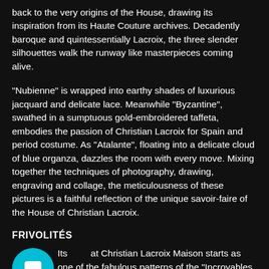back to the very origins of the House, drawing its inspiration from its Haute Couture archives. Decadently baroque and quintessentially Lacroix, the three slender silhouettes walk the runway like masterpieces coming alive.
"Nubienne" is wrapped into earthy shades of luxurious jacquard and delicate lace. Meanwhile "Byzantine", swathed in a sumptuous gold-embroidered taffeta, embodies the passion of Christian Lacroix for Spain and period costume. As "Atalante", floating into a delicate cloud of blue organza, dazzles the room with every move. Mixing together the techniques of photography, drawing, engraving and collage, the meticulousness of these pictures is a faithful reflection of the unique savoir-faire of the House of Christian Lacroix.
FRIVOLITÉS
Its at Christian Lacroix Maison starts as one of the fabulous patterns of the "Incroyables & Merveilleuses" fabrics and wallpapers line. Inspired by the panache of fashion in the era